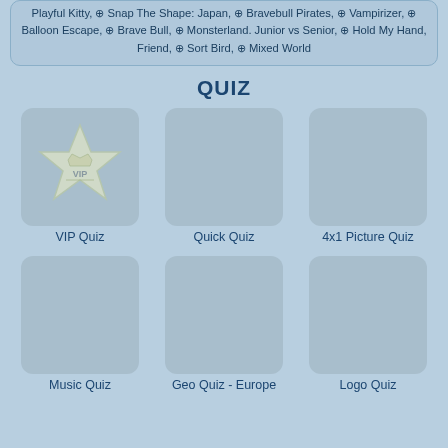Playful Kitty, ⊕ Snap The Shape: Japan, ⊕ Bravebull Pirates, ⊕ Vampirizer, ⊕ Balloon Escape, ⊕ Brave Bull, ⊕ Monsterland. Junior vs Senior, ⊕ Hold My Hand, Friend, ⊕ Sort Bird, ⊕ Mixed World
QUIZ
[Figure (illustration): VIP Quiz thumbnail: light blue-grey square with rounded corners containing a large star shape with VIP crown emblem]
VIP Quiz
Quick Quiz
4x1 Picture Quiz
Music Quiz
Geo Quiz - Europe
Logo Quiz